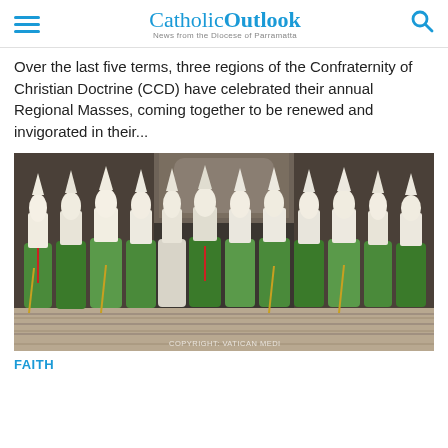CatholicOutlook — News from the Diocese of Parramatta
Over the last five terms, three regions of the Confraternity of Christian Doctrine (CCD) have celebrated their annual Regional Masses, coming together to be renewed and invigorated in their...
[Figure (photo): A procession of bishops and clergy wearing green vestments and white mitres inside a grand basilica. Watermark reads: COPYRIGHT: VATICAN MEDI]
FAITH